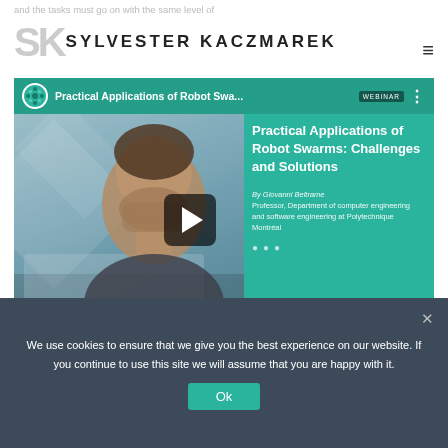and the tasks must go on with the same level of efficiency
SYLVESTER KACZMAREK
[Figure (screenshot): YouTube-style video thumbnail for webinar titled 'Practical Applications of Robot Swa...' with WEBINAR badge, showing a man's face on teal background with play button, and text: 'Practical Applications of Robot Swarms: Challenges and Solutions. By Giovanni Beltrame, Professor, Department of computer engineering and software engineering at Polytechnique Montréal']
We use cookies to ensure that we give you the best experience on our website. If you continue to use this site we will assume that you are happy with it.